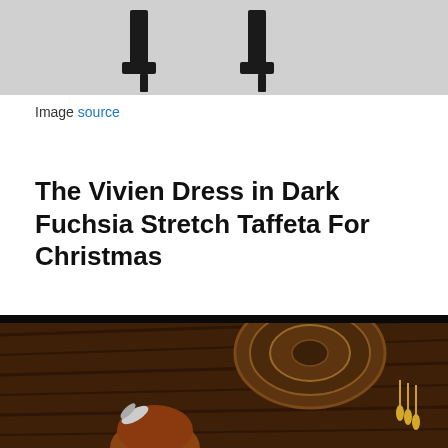[Figure (photo): Cropped image showing legs wearing black high-heeled shoes against a light grey/white background]
Image source
The Vivien Dress in Dark Fuchsia Stretch Taffeta For Christmas
[Figure (photo): Woman with auburn hair and a feather hair accessory in front of an ornate wooden ceiling with a chandelier, dark/vintage atmosphere]